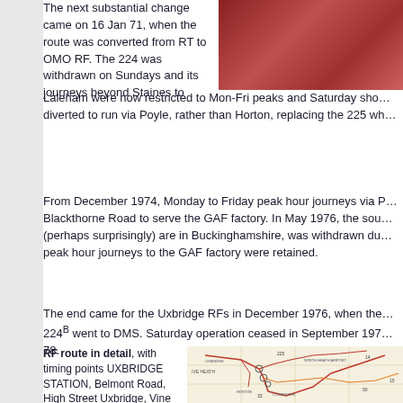[Figure (photo): Partial photo of a red bus, cropped at top right corner of the page]
The next substantial change came on 16 Jan 71, when the route was converted from RT to OMO RF. The 224 was withdrawn on Sundays and its journeys beyond Staines to Laleham were now restricted to Mon-Fri peaks and Saturday sho… diverted to run via Poyle, rather than Horton, replacing the 225 wh…
From December 1974, Monday to Friday peak hour journeys via P… Blackthorne Road to serve the GAF factory. In May 1976, the sou… (perhaps surprisingly) are in Buckinghamshire, was withdrawn du… peak hour journeys to the GAF factory were retained.
The end came for the Uxbridge RFs in December 1976, when the… 224B went to DMS. Saturday operation ceased in September 197… 78.
RF route in detail, with timing points UXBRIDGE STATION, Belmont Road, High Street Uxbridge, Vine Street (return via Windsor Street), Cowley Road, High Street Cowley, Cowley
[Figure (map): Bus route map showing RF routes around Uxbridge, Colnbrook, North Heath Airport area with red route lines and circle markers indicating stops]